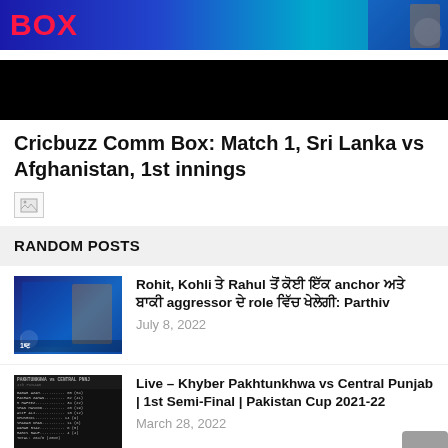[Figure (screenshot): Cricbuzz website banner with logo text in red/pink and a blue gradient background with black strip at bottom]
Cricbuzz Comm Box: Match 1, Sri Lanka vs Afghanistan, 1st innings
[Figure (other): Broken/missing image placeholder icon]
RANDOM POSTS
[Figure (photo): Cricket player in blue jersey batting, dark blue/purple background]
Rohit, Kohli ਤੇ Rahul ਤੋਂ ਕੋਈ ਇੱਕ anchor ਅਤੇ ਬਾਕੀ aggressor ਦੇ role ਵਿੱਚ ਖੇਲੇਗੀ: Parthiv
July 8, 2022
[Figure (screenshot): Dark scorecard/stats table for Khyber Pakhtunkhwa vs Central Punjab cricket match]
Live – Khyber Pakhtunkhwa vs Central Punjab | 1st Semi-Final | Pakistan Cup 2021-22
March 28, 2022
[Figure (photo): Partial photo of a cricket-related post, partially cut off at bottom of page]